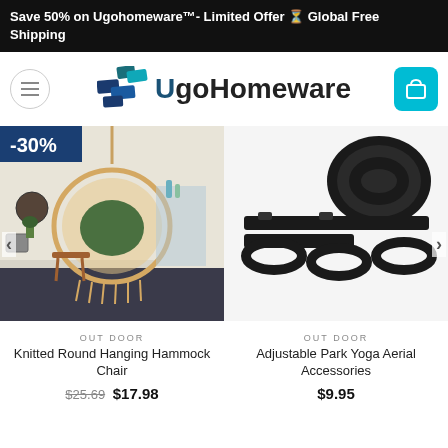Save 50% on Ugohomeware™- Limited Offer ⏳ Global Free Shipping
[Figure (logo): UgoHomeware logo with teal and dark blue geometric shape and bold text]
[Figure (photo): Knitted round hanging hammock chair with green cushion in a room setting, with -30% discount badge]
OUTDOOR
Knitted Round Hanging Hammock Chair
$25.69  $17.98
[Figure (photo): Black adjustable park yoga aerial accessories straps on white background]
OUTDOOR
Adjustable Park Yoga Aerial Accessories
$9.95